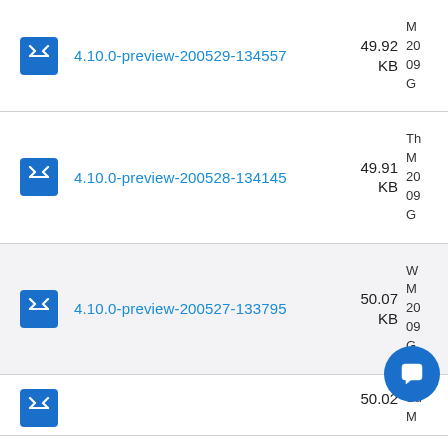4.10.0-preview-200529-134557 49.92 KB
4.10.0-preview-200528-134145 49.91 KB
4.10.0-preview-200527-133795 50.07 KB
Su... 50.02...